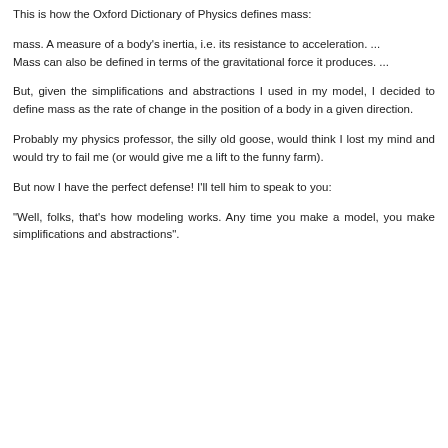This is how the Oxford Dictionary of Physics defines mass:
mass. A measure of a body's inertia, i.e. its resistance to acceleration. ...
Mass can also be defined in terms of the gravitational force it produces. ...
But, given the simplifications and abstractions I used in my model, I decided to define mass as the rate of change in the position of a body in a given direction.
Probably my physics professor, the silly old goose, would think I lost my mind and would try to fail me (or would give me a lift to the funny farm).
But now I have the perfect defense! I'll tell him to speak to you:
"Well, folks, that's how modeling works. Any time you make a model, you make simplifications and abstractions".